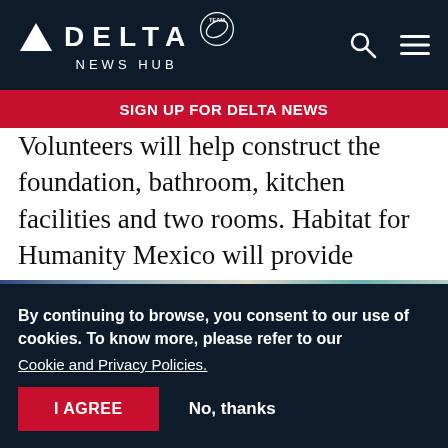DELTA NEWS HUB
SIGN UP FOR DELTA NEWS
Volunteers will help construct the foundation, bathroom, kitchen facilities and two rooms. Habitat for Humanity Mexico will provide families with the training and guidance to complete their new home with help from local volunteers, architects and engineers.
[Figure (photo): Partial photo strip showing blurry text and colored background, cropped at top of cookie overlay]
By continuing to browse, you consent to our use of cookies. To know more, please refer to our Cookie and Privacy Policies.
I AGREE
No, thanks